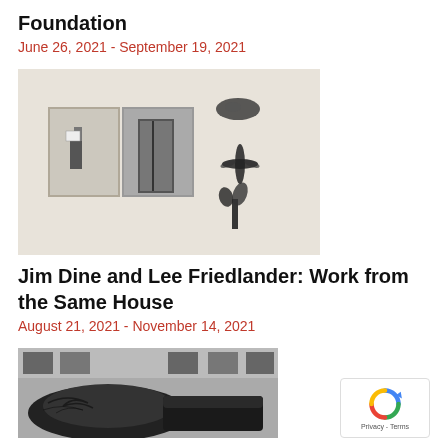Foundation
June 26, 2021 - September 19, 2021
[Figure (photo): Gallery installation view showing two black and white photographs mounted on a white wall on the left, and three dark abstract figure drawings on the right wall]
Jim Dine and Lee Friedlander: Work from the Same House
August 21, 2021 - November 14, 2021
[Figure (photo): Black and white photograph showing large dark sculptural objects that appear to be placed in front of a building with windows]